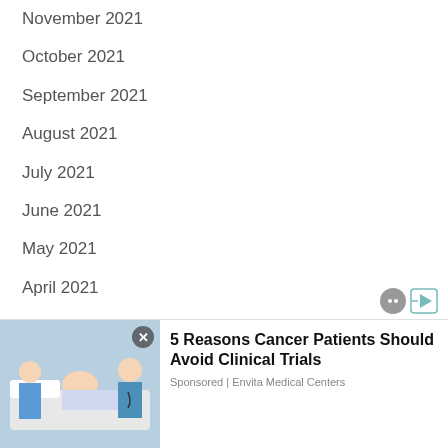November 2021
October 2021
September 2021
August 2021
July 2021
June 2021
May 2021
April 2021
March 2021
February 2021
January
Decem
[Figure (photo): Advertisement showing elderly patient in hospital bed with doctor and caregiver, overlay for '5 Reasons Cancer Patients Should Avoid Clinical Trials' sponsored by Envita Medical Centers]